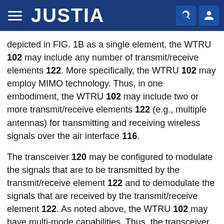JUSTIA
depicted in FIG. 1B as a single element, the WTRU 102 may include any number of transmit/receive elements 122. More specifically, the WTRU 102 may employ MIMO technology. Thus, in one embodiment, the WTRU 102 may include two or more transmit/receive elements 122 (e.g., multiple antennas) for transmitting and receiving wireless signals over the air interface 116.
The transceiver 120 may be configured to modulate the signals that are to be transmitted by the transmit/receive element 122 and to demodulate the signals that are received by the transmit/receive element 122. As noted above, the WTRU 102 may have multi-mode capabilities. Thus, the transceiver 120 may include multiple transceivers for enabling the WTRU 102 to communicate via multiple RATs, such as UTRA and IEEE 802.11, for example.